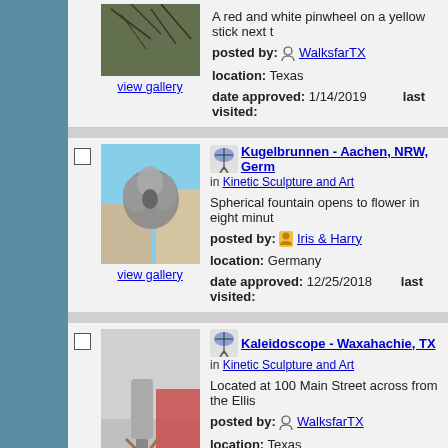[Figure (photo): Partial photo of tree branches/twigs visible at top of page]
A red and white pinwheel on a yellow stick next t
posted by: WalksfarTX
location: Texas
date approved: 1/14/2019   last visited:
[Figure (photo): Kugelbrunnen kinetic sculpture - metallic sphere/flower sculpture against building backdrop]
view gallery
Kugelbrunnen - Aachen, NRW, Germ
in Kinetic Sculpture and Art
Spherical fountain opens to flower in eight minut
posted by: Iris & Harry
location: Germany
date approved: 12/25/2018   last visited:
[Figure (photo): Kaleidoscope kinetic sculpture - metallic cylindrical device on stand, red car in background]
Kaleidoscope - Waxahachie, TX
in Kinetic Sculpture and Art
Located at 100 Main Street across from the Ellis
posted by: WalksfarTX
location: Texas
date approved: 12/16/2018   last visited: